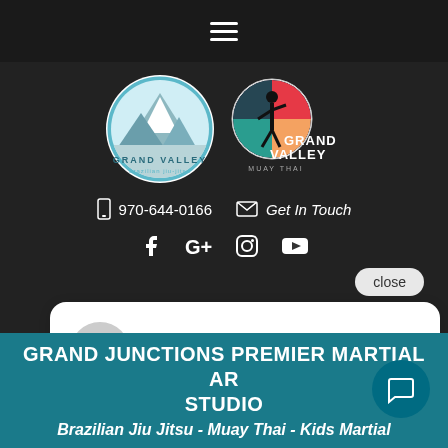Navigation menu (hamburger icon)
[Figure (logo): Grand Valley Brazilian Jiu-Jitsu circular logo with mountain illustration]
[Figure (logo): Grand Valley Muay Thai logo with fighter silhouette and circular emblem]
970-644-0166   Get In Touch
[Figure (infographic): Social media icons: Facebook, Google+, Instagram, YouTube]
close
Hi there, have a question? Text us here.
GRAND JUNCTIONS PREMIER MARTIAL ARTS STUDIO
Brazilian Jiu Jitsu - Muay Thai - Kids Martial